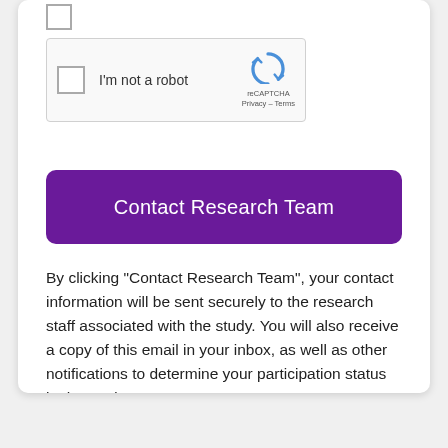[Figure (screenshot): reCAPTCHA widget with checkbox labeled 'I'm not a robot', reCAPTCHA logo, Privacy and Terms links]
[Figure (screenshot): Purple button labeled 'Contact Research Team']
By clicking "Contact Research Team", your contact information will be sent securely to the research staff associated with the study. You will also receive a copy of this email in your inbox, as well as other notifications to determine your participation status in the study.